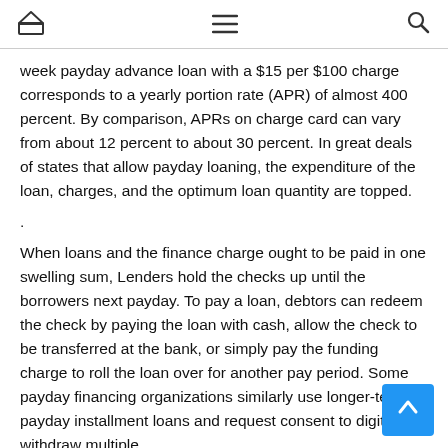🏠 ☰ 🔍
week payday advance loan with a $15 per $100 charge corresponds to a yearly portion rate (APR) of almost 400 percent. By comparison, APRs on charge card can vary from about 12 percent to about 30 percent. In great deals of states that allow payday loaning, the expenditure of the loan, charges, and the optimum loan quantity are topped.
.
When loans and the finance charge ought to be paid in one swelling sum, Lenders hold the checks up until the borrowers next payday. To pay a loan, debtors can redeem the check by paying the loan with cash, allow the check to be transferred at the bank, or simply pay the funding charge to roll the loan over for another pay period. Some payday financing organizations similarly use longer-term payday installment loans and request consent to digitally withdraw multiple